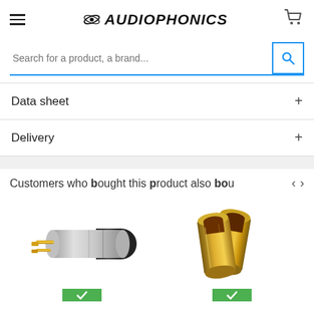Audiophonics
Search for a product, a brand...
Data sheet
Delivery
Customers who bought this product also bought
[Figure (photo): Silver and black RCA plug connector with gold pins]
[Figure (photo): Two gold-colored cylindrical connector sleeves/ferrules]